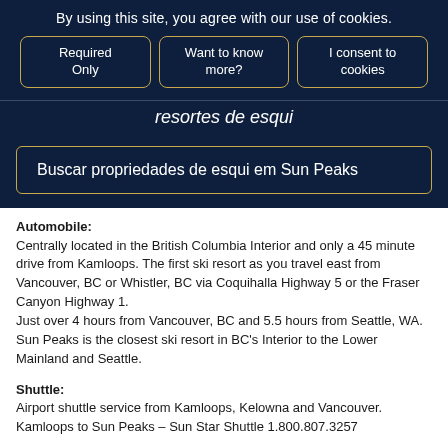By using this site, you agree with our use of cookies.
Required Only | Want to know more? | I consent to cookies
resortes de esqui
Buscar propriedades de esqui em Sun Peaks
Automobile:
Centrally located in the British Columbia Interior and only a 45 minute drive from Kamloops. The first ski resort as you travel east from Vancouver, BC or Whistler, BC via Coquihalla Highway 5 or the Fraser Canyon Highway 1.
Just over 4 hours from Vancouver, BC and 5.5 hours from Seattle, WA. Sun Peaks is the closest ski resort in BC's Interior to the Lower Mainland and Seattle.
Shuttle:
Airport shuttle service from Kamloops, Kelowna and Vancouver. Kamloops to Sun Peaks – Sun Star Shuttle 1.800.807.3257